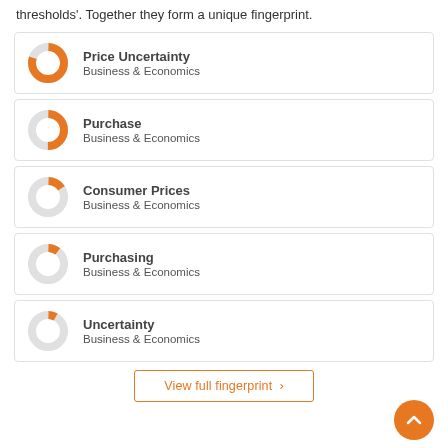thresholds'. Together they form a unique fingerprint.
[Figure (donut-chart): Donut chart ~80% filled orange]
Price Uncertainty
Business & Economics
[Figure (donut-chart): Donut chart ~50% filled orange]
Purchase
Business & Economics
[Figure (donut-chart): Donut chart ~15% filled orange]
Consumer Prices
Business & Economics
[Figure (donut-chart): Donut chart ~10% filled orange]
Purchasing
Business & Economics
[Figure (donut-chart): Donut chart ~8% filled orange]
Uncertainty
Business & Economics
View full fingerprint ›